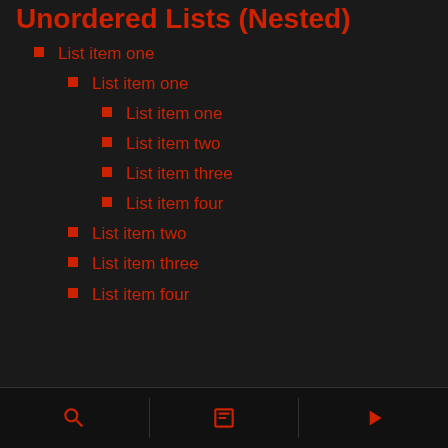Unordered Lists (Nested)
List item one
List item one
List item one
List item two
List item three
List item four
List item two
List item three
List item four